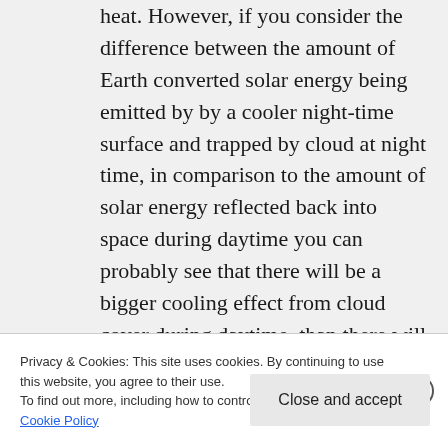heat. However, if you consider the difference between the amount of Earth converted solar energy being emitted by by a cooler night-time surface and trapped by cloud at night time, in comparison to the amount of solar energy reflected back into space during daytime you can probably see that there will be a bigger cooling effect from cloud cover during daytime, than there will be a warming effect from the same amount of cloud at night-time.
Privacy & Cookies: This site uses cookies. By continuing to use this website, you agree to their use.
To find out more, including how to control cookies, see here: Cookie Policy